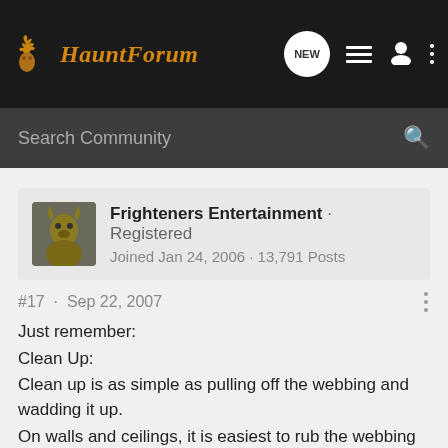HauntForum
Search Community
Frighteners Entertainment · Registered
Joined Jan 24, 2006 · 13,791 Posts
#17 · Sep 22, 2007
Just remember:
Clean Up:
Clean up is as simple as pulling off the webbing and wadding it up.
On walls and ceilings, it is easiest to rub the webbing off with your fingers.
Difficult to remove spots can be chilled with an ice pack or cube to facilitate clean up.